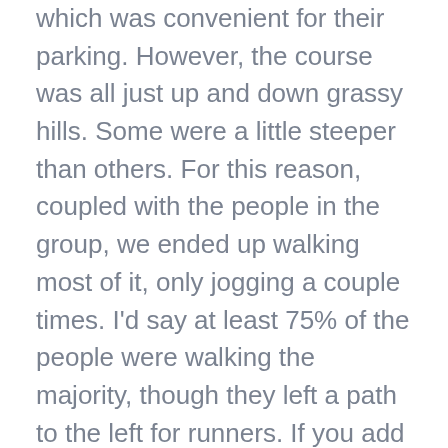which was convenient for their parking. However, the course was all just up and down grassy hills. Some were a little steeper than others. For this reason, coupled with the people in the group, we ended up walking most of it, only jogging a couple times. I'd say at least 75% of the people were walking the majority, though they left a path to the left for runners. If you add in some people with bad knees on a grassy downhill slope getting stomped down by 10,000 people, you'll end up going a little slower. Even though we did walk, it didn't really feel slow or dragging.
The color portions were mostly fun. The colors were corn starch and coloring, so when you came out the other end, it would smell a lot like